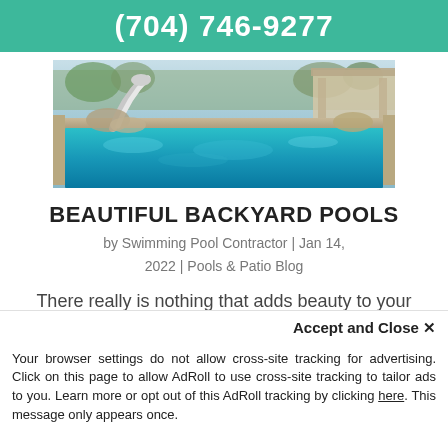(704) 746-9277
[Figure (photo): A luxury backyard swimming pool with a water slide, stone surroundings, and a covered patio area.]
BEAUTIFUL BACKYARD POOLS
by Swimming Pool Contractor | Jan 14, 2022 | Pools & Patio Blog
There really is nothing that adds beauty to your yard quite like a swimming pool. Swimming pools create a perfect landscape that just can't be beat....
Accept and Close ✕
Your browser settings do not allow cross-site tracking for advertising. Click on this page to allow AdRoll to use cross-site tracking to tailor ads to you. Learn more or opt out of this AdRoll tracking by clicking here. This message only appears once.